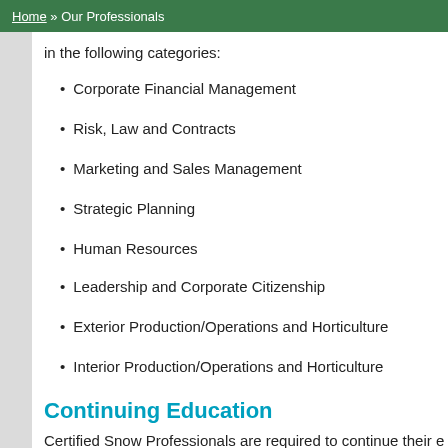Home » Our Professionals
in the following categories:
Corporate Financial Management
Risk, Law and Contracts
Marketing and Sales Management
Strategic Planning
Human Resources
Leadership and Corporate Citizenship
Exterior Production/Operations and Horticulture
Interior Production/Operations and Horticulture
Continuing Education
Certified Snow Professionals are required to continue their educa